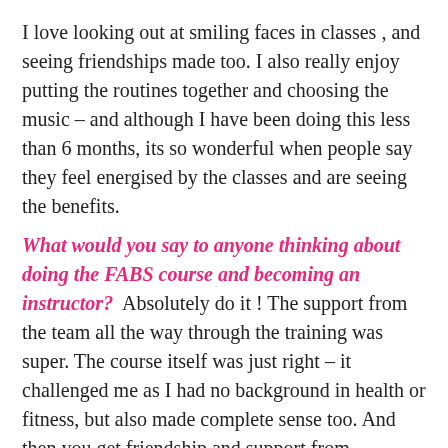I love looking out at smiling faces in classes , and seeing friendships made too. I also really enjoy putting the routines together and choosing the music – and although I have been doing this less than 6 months, its so wonderful when people say they feel energised by the classes and are seeing the benefits.
What would you say to anyone thinking about doing the FABS course and becoming an instructor? Absolutely do it ! The support from the team all the way through the training was super. The course itself was just right – it challenged me as I had no background in health or fitness, but also made complete sense too. And then you get friendship and support from